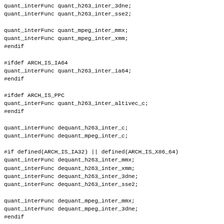quant_interFunc quant_h263_inter_3dne;
quant_interFunc quant_h263_inter_sse2;

quant_interFunc quant_mpeg_inter_mmx;
quant_interFunc quant_mpeg_inter_xmm;
#endif

#ifdef ARCH_IS_IA64
quant_interFunc quant_h263_inter_ia64;
#endif

#ifdef ARCH_IS_PPC
quant_interFunc quant_h263_inter_altivec_c;
#endif

quant_interFunc dequant_h263_inter_c;
quant_interFunc dequant_mpeg_inter_c;

#if defined(ARCH_IS_IA32) || defined(ARCH_IS_X86_64)
quant_interFunc dequant_h263_inter_mmx;
quant_interFunc dequant_h263_inter_xmm;
quant_interFunc dequant_h263_inter_3dne;
quant_interFunc dequant_h263_inter_sse2;

quant_interFunc dequant_mpeg_inter_mmx;
quant_interFunc dequant_mpeg_inter_3dne;
#endif

#ifdef ARCH_IS_IA64
quant_interFunc dequant_h263_inter_ia64;
#endif